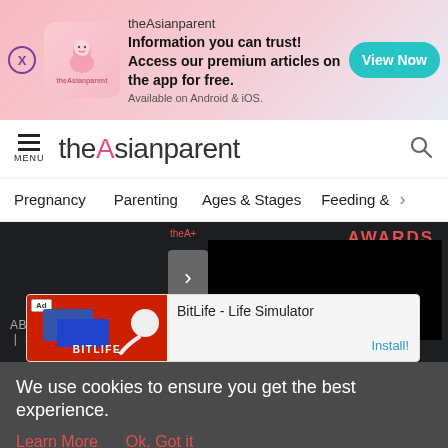[Figure (screenshot): Top advertisement banner for theAsianparent app with pink gradient background, app icon, text 'Information you can trust! Access our premium articles on the app for free. Available on Android & iOS.' and teal 'View Now' button]
theAsianparent
Pregnancy   Parenting   Ages & Stages   Feeding & >
[Figure (screenshot): Dark website section showing AWARDS text in red, a slider arrow button, a black video area, and footer links ABOUT US | TEAM | SITEMAP HTML]
[Figure (screenshot): BitLife - Life Simulator app advertisement with red background, sperm icon graphic, Ad badge, and Install! link in blue]
We use cookies to ensure you get the best experience.
Learn More   Ok, Got it